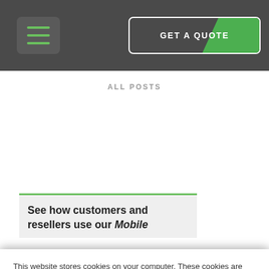GET A QUOTE
ALL POSTS
See how customers and resellers use our Mobile
This website stores cookies on your computer. These cookies are used to improve your website and provide more personalized services to you, both on this website and through other media. To find out more about the cookies we use, see our Privacy Policy.

We won't track your information when you visit our site. But in order to comply with your preferences, we'll have to use just one tiny cookie so that you're not asked to make this choice again.
Accept
Decline